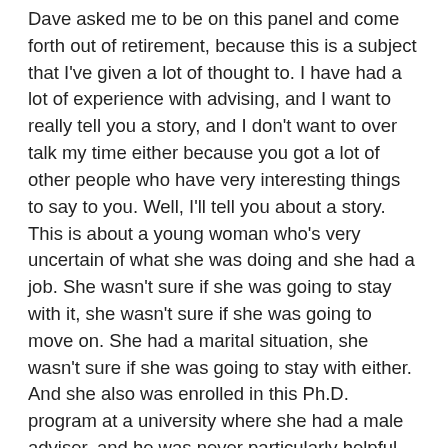Dave asked me to be on this panel and come forth out of retirement, because this is a subject that I've given a lot of thought to. I have had a lot of experience with advising, and I want to really tell you a story, and I don't want to over talk my time either because you got a lot of other people who have very interesting things to say to you. Well, I'll tell you about a story. This is about a young woman who's very uncertain of what she was doing and she had a job. She wasn't sure if she was going to stay with it, she wasn't sure if she was going to move on. She had a marital situation, she wasn't sure if she was going to stay with either. And she also was enrolled in this Ph.D. program at a university where she had a male adviser, and he was never particularly helpful. And finally she became a feminist and thought, well maybe I should see through him. You know, there's a lot of psychology involved in dealing with advising, with all the personalities you come in contact with. So she said to him one day, 'Sir,' we were always very formal, 'Perhaps you don't think a woman should get a Ph.D. But many men think she should have the opportunity.